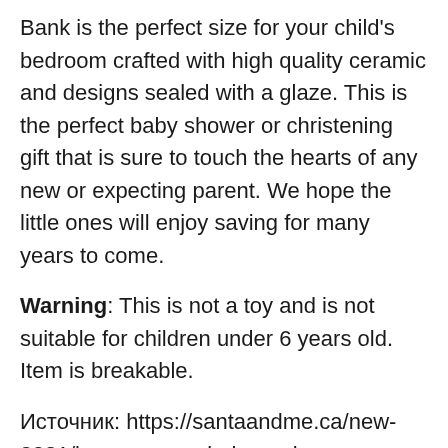Bank is the perfect size for your child's bedroom crafted with high quality ceramic and designs sealed with a glaze. This is the perfect baby shower or christening gift that is sure to touch the hearts of any new or expecting parent. We hope the little ones will enjoy saving for many years to come.
Warning: This is not a toy and is not suitable for children under 6 years old. Item is breakable.
Источник: https://santaandme.ca/new-2021/large-paper-airplane-piggy-bank.html
secret puzzle box hobby lobby 1 out of 5 stars 140 UGEARS Aero Clock 3D Wooden